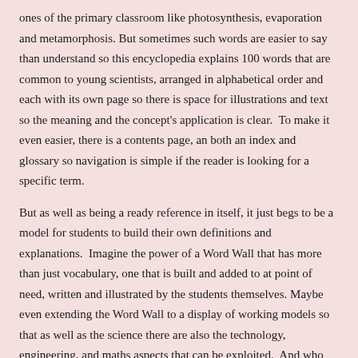ones of the primary classroom like photosynthesis, evaporation and metamorphosis. But sometimes such words are easier to say than understand so this encyclopedia explains 100 words that are common to young scientists, arranged in alphabetical order and each with its own page so there is space for illustrations and text so the meaning and the concept's application is clear.  To make it even easier, there is a contents page, an both an index and glossary so navigation is simple if the reader is looking for a specific term.
But as well as being a ready reference in itself, it just begs to be a model for students to build their own definitions and explanations.  Imagine the power of a Word Wall that has more than just vocabulary, one that is built and added to at point of need, written and illustrated by the students themselves. Maybe even extending the Word Wall to a display of working models so that as well as the science there are also the technology, engineering, and maths aspects that can be exploited.  And who wouldn't want to watch an episode of Lego Masters and try to explain the STEM as well as the story?
Books like this that actively engage readers in building on them are essential tools in the kits of teachers, libraries of schools and bookshelves of families. This review is not done...